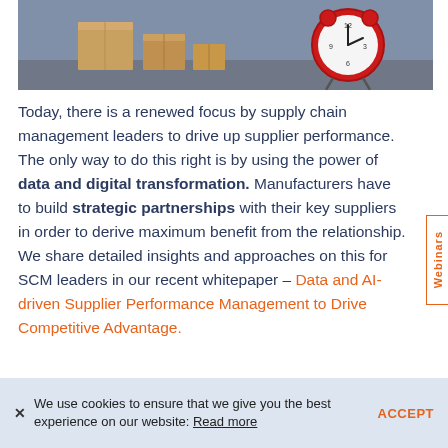[Figure (photo): Photo showing cardboard boxes and a red alarm clock on a dark background, representing supply chain and time management themes.]
Today, there is a renewed focus by supply chain management leaders to drive up supplier performance. The only way to do this right is by using the power of data and digital transformation. Manufacturers have to build strategic partnerships with their key suppliers in order to derive maximum benefit from the relationship. We share detailed insights and approaches on this for SCM leaders in our recent whitepaper – Data and AI-driven Supplier Performance Management to Drive Competitive Advantage.
We use cookies to ensure that we give you the best experience on our website: Read more   ACCEPT